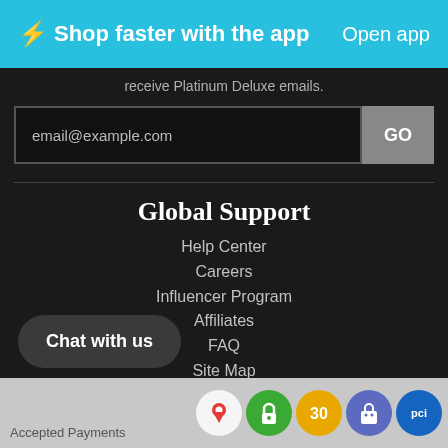⚡Shop faster with the app    Open app
receive Platinum Deluxe emails.
email@example.com
Global Support
Help Center
Careers
Influencer Program
Affiliates
FAQ
Site Map
Case Study
Press Releases
Accessibly
Chat with us
Accepted Payments